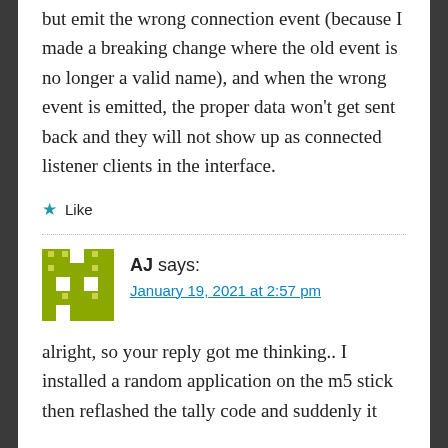but emit the wrong connection event (because I made a breaking change where the old event is no longer a valid name), and when the wrong event is emitted, the proper data won't get sent back and they will not show up as connected listener clients in the interface.
★ Like
AJ says: January 19, 2021 at 2:57 pm
alright, so your reply got me thinking.. I installed a random application on the m5 stick then reflashed the tally code and suddenly it